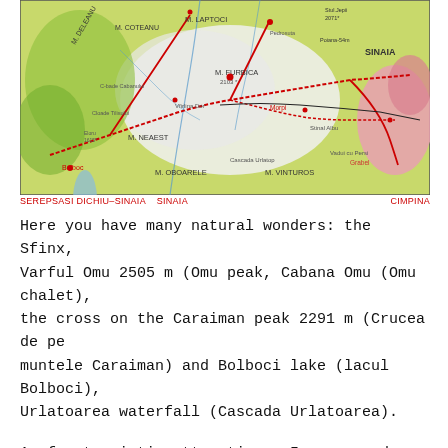[Figure (map): Topographic map of the Bucegi Mountains area showing trails, peaks (M. Laptoci, M. Furbica, M. Neaest, M. Oboarele, M. Vinturos, M. Coteanu, M. Deleanu), and the town of Sinaia. Red routes mark hiking trails including Serepsasi Dichiu-Sinaia route. Yellow-green areas indicate forested or elevated terrain, white areas show high mountain zones, pink areas indicate built-up zones. Place names and elevation markers are noted throughout.]
SEREPSASI DICHIU–SINAIA   SINAIA                                                      CIMPINA
Here you have many natural wonders: the Sfinx, Varful Omu 2505 m (Omu peak, Cabana Omu (Omu chalet), the cross on the Caraiman peak 2291 m (Crucea de pe muntele Caraiman) and Bolboci lake (lacul Bolboci), Urlatoarea waterfall (Cascada Urlatoarea).
As for touristic attractions, I recommend Peles Castle, Bran Castle, Caraiman monastery.
Many tourists come by train or car and sleep in Busteni or